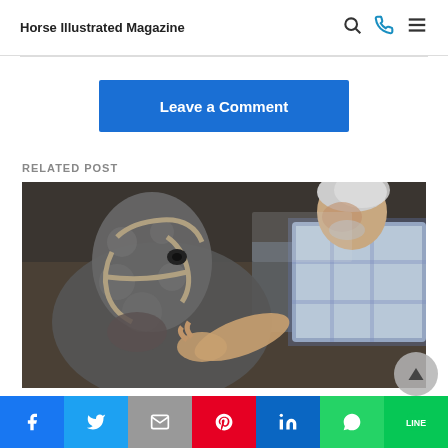Horse Illustrated Magazine
Leave a Comment
RELATED POST
[Figure (photo): An elderly man with white hair in a plaid shirt leaning down to touch/examine a dappled grey horse wearing a halter, inside a stable or barn setting.]
Social share bar with Facebook, Twitter, Email, Pinterest, LinkedIn, WhatsApp, LINE buttons